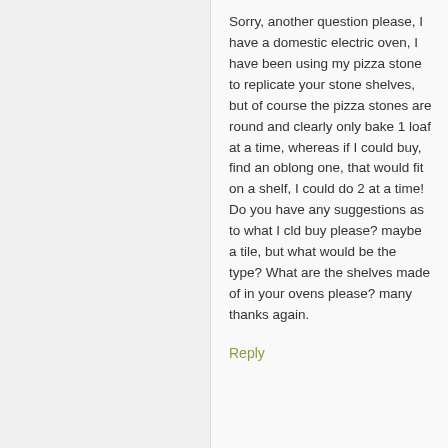Sorry, another question please, I have a domestic electric oven, I have been using my pizza stone to replicate your stone shelves, but of course the pizza stones are round and clearly only bake 1 loaf at a time, whereas if I could buy, find an oblong one, that would fit on a shelf, I could do 2 at a time! Do you have any suggestions as to what I cld buy please? maybe a tile, but what would be the type? What are the shelves made of in your ovens please? many thanks again.
Reply